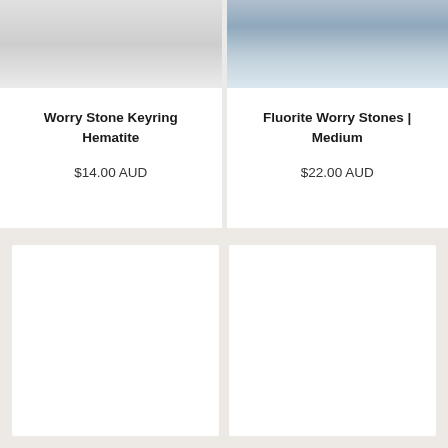[Figure (photo): Top portion of product photo for Worry Stone Keyring Hematite - white/grey fabric or stone surface]
Worry Stone Keyring Hematite
$14.00 AUD
[Figure (photo): Top portion of product photo for Fluorite Worry Stones Medium - hand holding blue/grey stones with decorative background]
Fluorite Worry Stones | Medium
$22.00 AUD
[Figure (photo): Bottom product card - white rectangle on beige background (product image loading area)]
[Figure (photo): Bottom product card - white rectangle on beige background (product image loading area)]